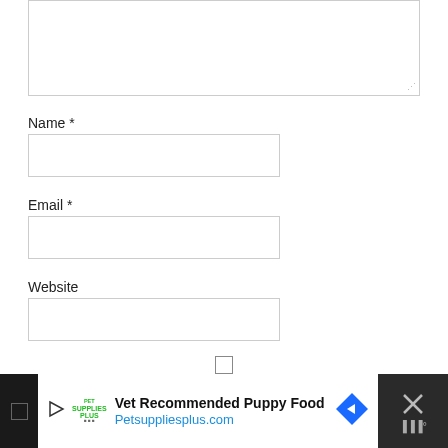[Figure (screenshot): A comment form textarea (partially visible at top), followed by Name, Email, and Website fields, a checkbox with save-my-name text, and an advertisement banner at the bottom for Petsuppliesplus.com.]
Name *
Email *
Website
Save my name, email, and website in this browser for the next time I comment.
[Figure (screenshot): Ad banner: Vet Recommended Puppy Food - Petsuppliesplus.com with play button, logo, navigation arrow diamond icon, and close X button on dark background.]